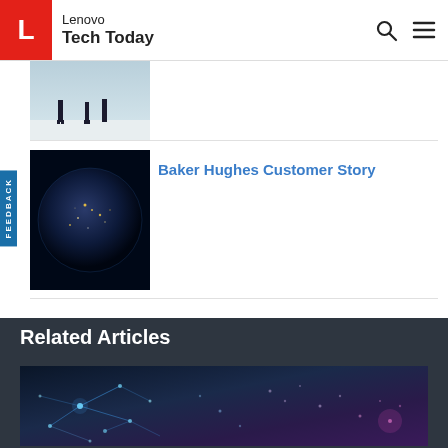Lenovo Tech Today
[Figure (photo): Partially visible thumbnail showing silhouetted figures on snow/ice landscape]
Baker Hughes Customer Story
[Figure (photo): Globe/Earth viewed from space at night, showing city lights]
Related Articles
[Figure (illustration): Digital network visualization with glowing blue and purple light points and connecting lines on dark background]